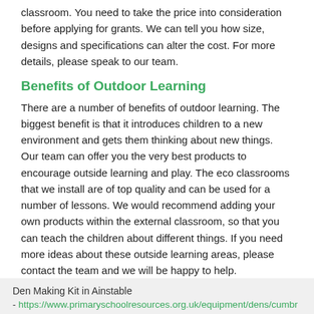classroom. You need to take the price into consideration before applying for grants. We can tell you how size, designs and specifications can alter the cost. For more details, please speak to our team.
Benefits of Outdoor Learning
There are a number of benefits of outdoor learning. The biggest benefit is that it introduces children to a new environment and gets them thinking about new things. Our team can offer you the very best products to encourage outside learning and play. The eco classrooms that we install are of top quality and can be used for a number of lessons. We would recommend adding your own products within the external classroom, so that you can teach the children about different things. If you need more ideas about these outside learning areas, please contact the team and we will be happy to help.
Other Equipment We Offer
Den Making Kit in Ainstable
- https://www.primaryschoolresources.org.uk/equipment/dens/cumbr